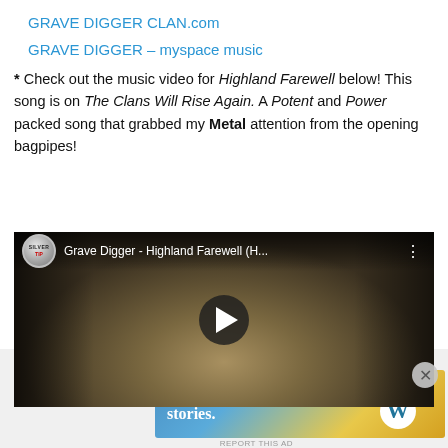GRAVE DIGGER CLAN.com
GRAVE DIGGER – myspace music
* Check out the music video for Highland Farewell below! This song is on The Clans Will Rise Again. A Potent and Power packed song that grabbed my Metal attention from the opening bagpipes!
[Figure (screenshot): YouTube video embed showing Grave Digger - Highland Farewell (H... with a play button over a close-up of a person's face with long gray hair. Silvertip logo in top-left corner.]
Advertisements
[Figure (screenshot): Advertisement banner: Create immersive stories. GET THE APP with WordPress logo.]